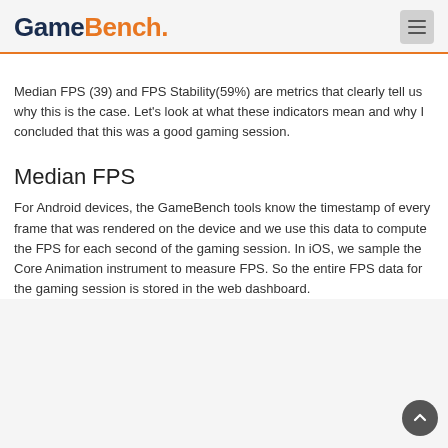GameBench.
Median FPS (39) and FPS Stability(59%) are metrics that clearly tell us why this is the case. Let's look at what these indicators mean and why I concluded that this was a good gaming session.
Median FPS
For Android devices, the GameBench tools know the timestamp of every frame that was rendered on the device and we use this data to compute the FPS for each second of the gaming session. In iOS, we sample the Core Animation instrument to measure FPS. So the entire FPS data for the gaming session is stored in the web dashboard.